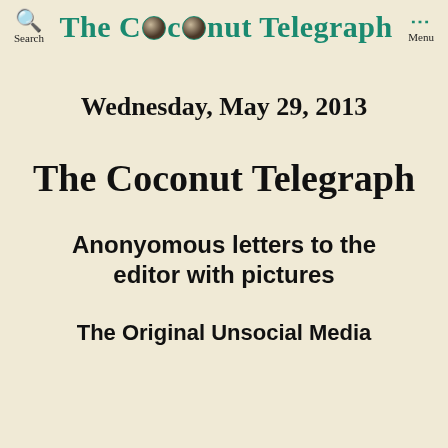The Coconut Telegraph
Wednesday, May 29, 2013
The Coconut Telegraph
Anonyomous letters to the editor with pictures
The Original Unsocial Media